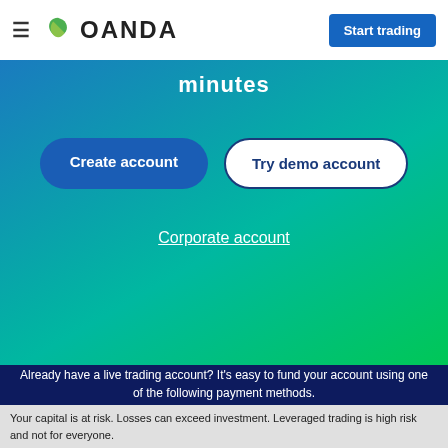[Figure (logo): OANDA logo with green leaf icon and hamburger menu on the left, and 'Start trading' blue button on the right]
minutes
Create account
Try demo account
Corporate account
Already have a live trading account? It's easy to fund your account using one of the following payment methods.
[Figure (infographic): Payment method icons: VISA, Mastercard, PayPal, Wire Transfer]
Your capital is at risk. Losses can exceed investment. Leveraged trading is high risk and not for everyone.